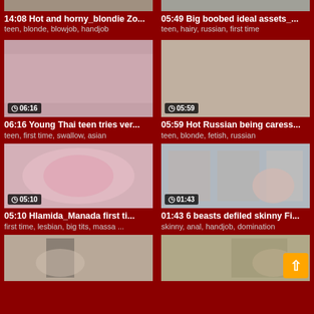[Figure (screenshot): Video thumbnail grid page showing adult video listings with thumbnails, durations, titles, and tags on dark red background]
14:08 Hot and horny_blondie Zo...
teen, blonde, blowjob, handjob
05:49 Big boobed ideal assets_...
teen, hairy, russian, first time
06:16
06:16 Young Thai teen tries ver...
teen, first time, swallow, asian
05:59
05:59 Hot Russian being caress...
teen, blonde, fetish, russian
05:10
05:10 Hlamida_Manada first ti...
first time, lesbian, big tits, massa ...
01:43
01:43 6 beasts defiled skinny Fi...
skinny, anal, handjob, domination